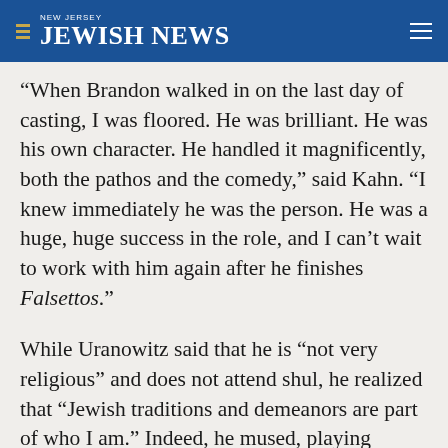NEW JERSEY JEWISH NEWS
“When Brandon walked in on the last day of casting, I was floored. He was brilliant. He was his own character. He handled it magnificently, both the pathos and the comedy,” said Kahn. “I knew immediately he was the person. He was a huge, huge success in the role, and I can’t wait to work with him again after he finishes Falsettos.”
While Uranowitz said that he is “not very religious” and does not attend shul, he realized that “Jewish traditions and demeanors are part of who I am.” Indeed, he mused, playing Arnold “cracked open this person who lives inside of me.”
The actor has reconciled himself to the fact that he